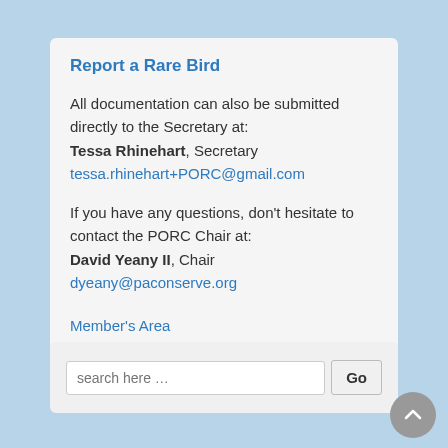Report a Rare Bird
All documentation can also be submitted directly to the Secretary at:
Tessa Rhinehart, Secretary
tessa.rhinehart+PORC@gmail.com
If you have any questions, don't hesitate to contact the PORC Chair at:
David Yeany II, Chair
dyeany@paconserve.org
Member's Area